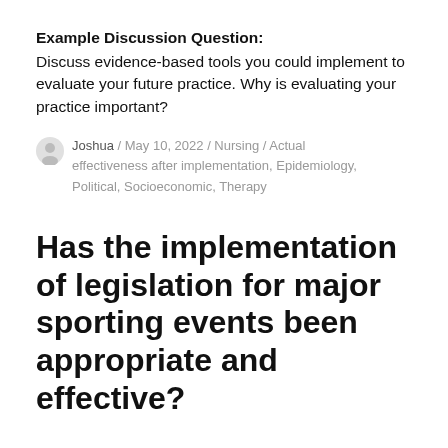Example Discussion Question:
Discuss evidence-based tools you could implement to evaluate your future practice. Why is evaluating your practice important?
Joshua / May 10, 2022 / Nursing / Actual effectiveness after implementation, Epidemiology, Political, Socioeconomic, Therapy
Has the implementation of legislation for major sporting events been appropriate and effective?